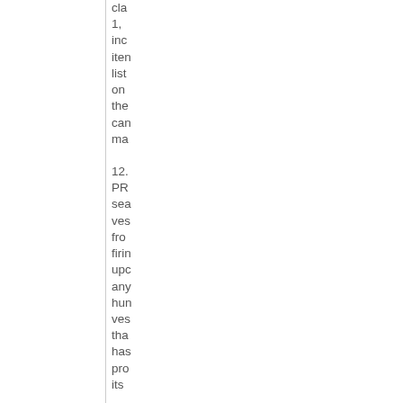cla 1, inc iten list on the can ma
12. PR sea ves fro firin upc any hun ves tha has pro its